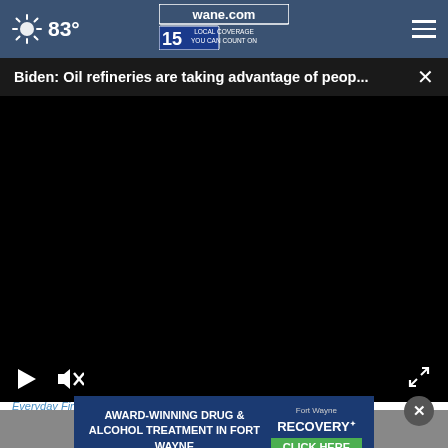wane.com 15 LOCAL COVERAGE YOU CAN COUNT ON | 83°
Biden: Oil refineries are taking advantage of peop... ×
[Figure (screenshot): Black video player area with playback controls at bottom: play button, mute button, fullscreen button]
Everyday Finance
[Figure (screenshot): Advertisement banner: AWARD-WINNING DRUG & ALCOHOL TREATMENT IN FORT WAYNE | RECOVERY CLICK HERE]